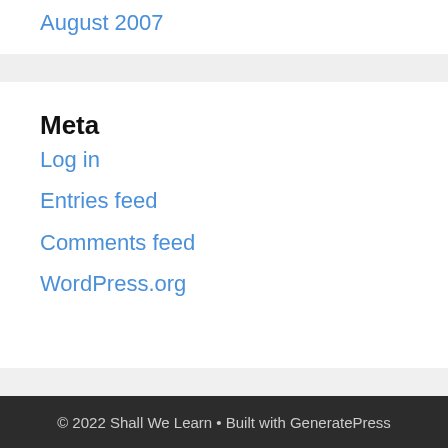August 2007
Meta
Log in
Entries feed
Comments feed
WordPress.org
© 2022 Shall We Learn • Built with GeneratePress